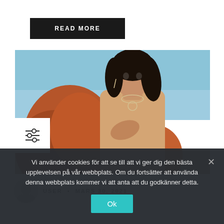READ MORE
[Figure (photo): Fashion/jewelry advertisement photo: a young woman with dark hair wearing earrings and a necklace, posing against large red desert rocks and a blue sky background]
[Figure (infographic): Filter/settings icon overlay in a white square box]
USER • MARS 30, 2021
Vi använder cookies för att se till att vi ger dig den bästa upplevelsen på vår webbplats. Om du fortsätter att använda denna webbplats kommer vi att anta att du godkänner detta.
Ok